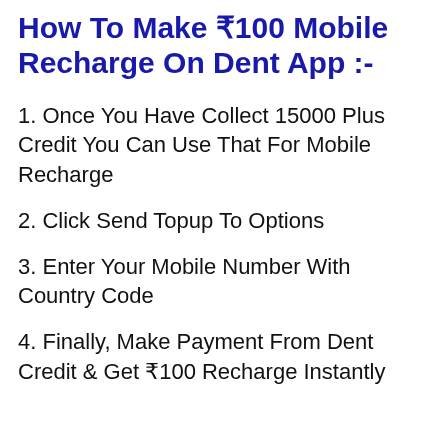How To Make ₹100 Mobile Recharge On Dent App :-
1. Once You Have Collect 15000 Plus Credit You Can Use That For Mobile Recharge
2. Click Send Topup To Options
3. Enter Your Mobile Number With Country Code
4. Finally, Make Payment From Dent Credit & Get ₹100 Recharge Instantly